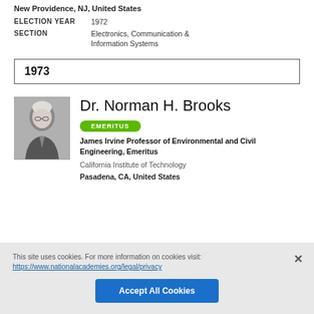New Providence, NJ, United States
ELECTION YEAR	1972
SECTION	Electronics, Communication & Information Systems
1973
Dr. Norman H. Brooks
EMERITUS
James Irvine Professor of Environmental and Civil Engineering, Emeritus
California Institute of Technology
Pasadena, CA, United States
This site uses cookies. For more information on cookies visit: https://www.nationalacademies.org/legal/privacy
Accept All Cookies